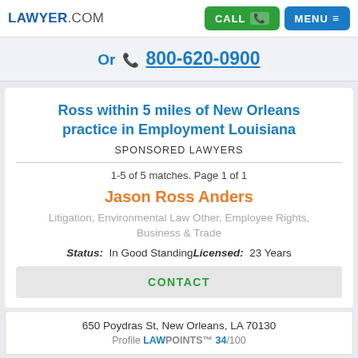LAWYER.COM | CALL | MENU
Or 800-620-0900
Ross within 5 miles of New Orleans practice in Employment Louisiana
SPONSORED LAWYERS
1-5 of 5 matches. Page 1 of 1
Jason Ross Anders
Litigation, Environmental Law Other, Employee Rights, Business & Trade
Status: In Good Standing Licensed: 23 Years
CONTACT
650 Poydras St, New Orleans, LA 70130
Profile LAWPOINTS™ 34/100